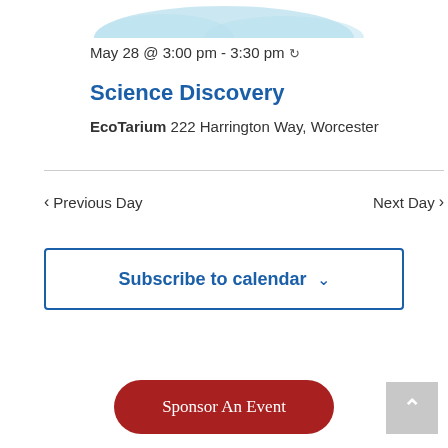[Figure (illustration): Partial decorative cloud/logo image at top of page, light blue color]
May 28 @ 3:00 pm - 3:30 pm ↻
Science Discovery
EcoTarium 222 Harrington Way, Worcester
< Previous Day
Next Day >
Subscribe to calendar ∨
Sponsor An Event